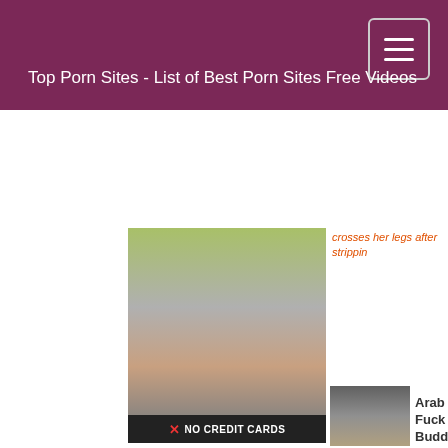Top Porn Sites - List of Best Porn Sites Free Videos
[Figure (photo): Main photo placeholder]
crosses her legs after strippin
[Figure (photo): Small thumbnail of woman]
Arab Fuck Buddy Beg